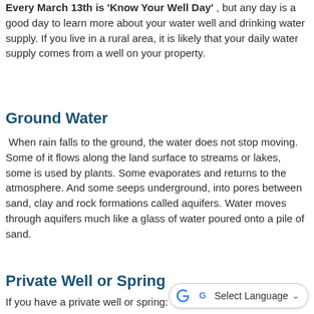Every March 13th is 'Know Your Well Day', but any day is a good day to learn more about your water well and drinking water supply. If you live in a rural area, it is likely that your daily water supply comes from a well on your property.
Ground Water
When rain falls to the ground, the water does not stop moving. Some of it flows along the land surface to streams or lakes, some is used by plants. Some evaporates and returns to the atmosphere. And some seeps underground, into pores between sand, clay and rock formations called aquifers. Water moves through aquifers much like a glass of water poured onto a pile of sand.
Private Well or Spring
If you have a private well or spring: